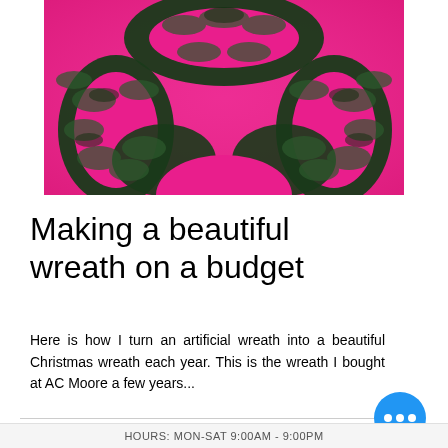[Figure (photo): Close-up photo of a green artificial wreath laid flat on a bright pink plastic/fabric background. The wreath fills most of the frame showing dark green pine branches arranged in a circular shape.]
Making a beautiful wreath on a budget
Here is how I turn an artificial wreath into a beautiful Christmas wreath each year. This is the wreath I bought at AC Moore a few years...
HOURS: MON-SAT 9:00AM - 9:00PM